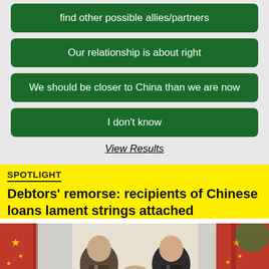find other possible allies/partners
Our relationship is about right
We should be closer to China than we are now
I don't know
View Results
SPOTLIGHT
Debtors' remorse: recipients of Chinese loans lament strings attached
[Figure (photo): Two men in suits shaking hands in front of red flags with gold stars, appearing to be political leaders at an official ceremony]